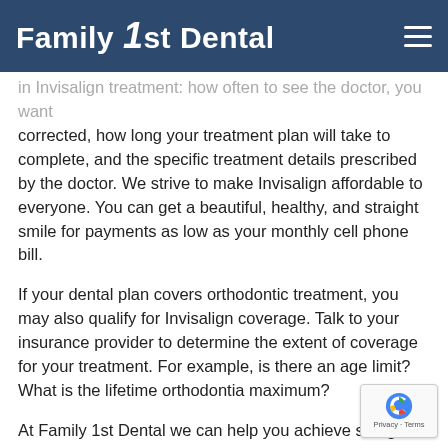Family 1st Dental
in Invisalign treatment: how often to see the doctor, you want corrected, how long your treatment plan will take to complete, and the specific treatment details prescribed by the doctor. We strive to make Invisalign affordable to everyone. You can get a beautiful, healthy, and straight smile for payments as low as your monthly cell phone bill.
If your dental plan covers orthodontic treatment, you may also qualify for Invisalign coverage. Talk to your insurance provider to determine the extent of coverage for your treatment. For example, is there an age limit? What is the lifetime orthodontia maximum?
At Family 1st Dental we can help you achieve straight teeth and a beautiful, healthy smile with Invisalign®. For more information or to schedule a consultation with contact nearest office.